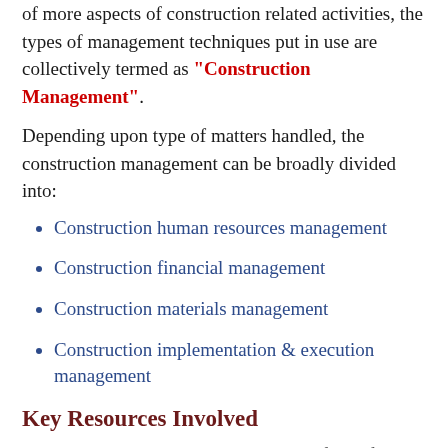of more aspects of construction related activities, the types of management techniques put in use are collectively termed as "Construction Management".
Depending upon type of matters handled, the construction management can be broadly divided into:
Construction human resources management
Construction financial management
Construction materials management
Construction implementation & execution management
Key Resources Involved
The key resources that are handled in the field of construction management are usually:
Men
Materials
Machinery